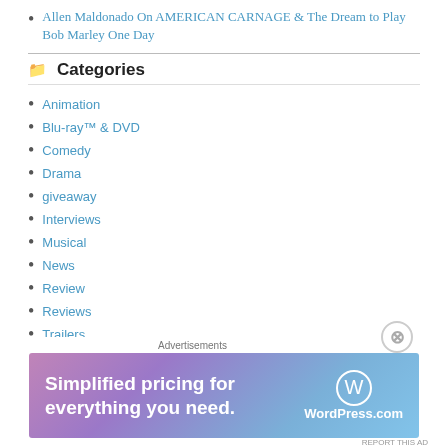Allen Maldonado On AMERICAN CARNAGE & The Dream to Play Bob Marley One Day
Categories
Animation
Blu-ray™ & DVD
Comedy
Drama
giveaway
Interviews
Musical
News
Review
Reviews
Trailers
Trailer
TOP CATEGORIES: NEWS EUGENIO DERBEZ
Advertisements
[Figure (screenshot): WordPress.com advertisement banner: 'Simplified pricing for everything you need.' with WordPress logo]